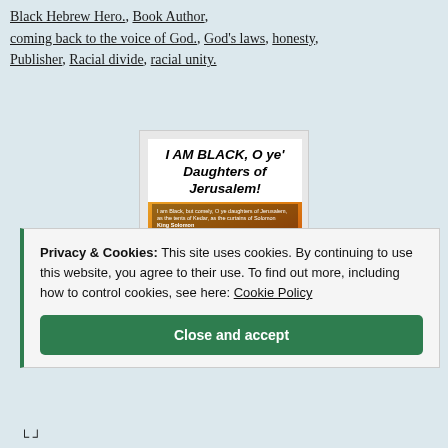Black Hebrew Hero., Book Author, coming back to the voice of God., God's laws, honesty, Publisher, Racial divide, racial unity.
[Figure (illustration): Book cover of 'I AM BLACK, O ye' Daughters of Jerusalem!' showing two Black figures against a colorful background, with text referencing King Solomon]
Privacy & Cookies: This site uses cookies. By continuing to use this website, you agree to their use. To find out more, including how to control cookies, see here: Cookie Policy
Close and accept